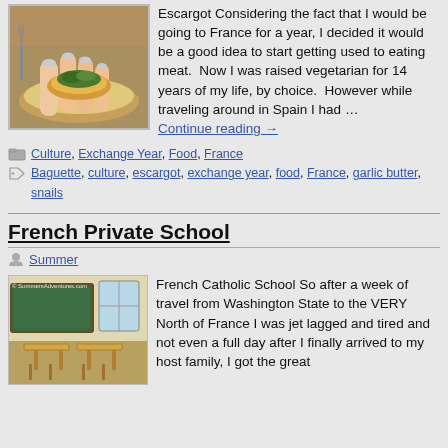[Figure (photo): Close-up photo of a hand holding escargot on bread with green herb butter]
Escargot Considering the fact that I would be going to France for a year, I decided it would be a good idea to start getting used to eating meat.  Now I was raised vegetarian for 14 years of my life, by choice.  However while traveling around in Spain I had … Continue reading →
Culture, Exchange Year, Food, France
Baguette, culture, escargot, exchange year, food, France, garlic butter, snails
French Private School
Summer
[Figure (photo): Photo of a French classroom with wooden desks and a green chalkboard, watermark SummersAdventures.com]
French Catholic School So after a week of travel from Washington State to the VERY North of France I was jet lagged and tired and not even a full day after I finally arrived to my host family, I got the great